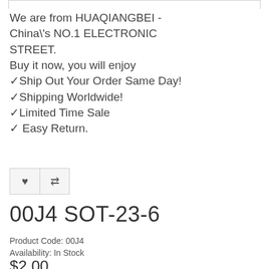We are from HUAQIANGBEI - China\'s NO.1 ELECTRONIC STREET.
Buy it now, you will enjoy
✓Ship Out Your Order Same Day!
✓Shipping Worldwide!
✓Limited Time Sale
✓ Easy Return.
[Figure (other): Two UI buttons: a heart/favourite icon button and a compare (double arrow) icon button]
00J4 SOT-23-6
Product Code: 00J4
Availability: In Stock
$2.00